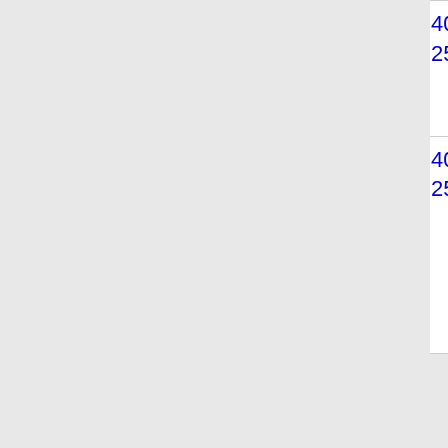| Number | State | Name | Code |
| --- | --- | --- | --- |
| 408-256-7 | CA | YMAX COMMUNICATIONS CORP. - CA (YMAX (a/k/a MagicJack)) | 258E S |
| 408-256-8 | CA | YMAX COMMUNICATIONS CORP. - CA (YMAX (a/k/a MagicJack)) | 258E S |